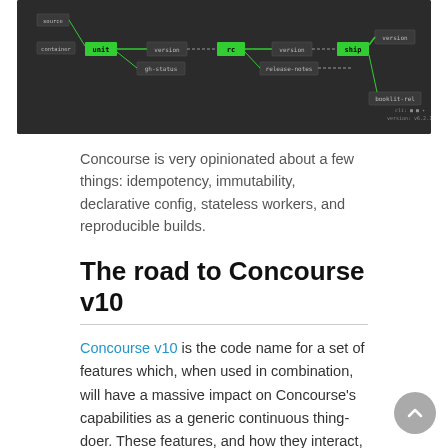[Figure (screenshot): Dark-themed pipeline/flow diagram showing CI/CD workflow nodes including 'unit', 'rc', 'ship' (in green), connected by arrows to boxes like 'version', 'gh-status', 'release-notes', 'booklit-rel'. Small version info in bottom right.]
Concourse is very opinionated about a few things: idempotency, immutability, declarative config, stateless workers, and reproducible builds.
The road to Concourse v10
Concourse v10 is the code name for a set of features which, when used in combination, will have a massive impact on Concourse's capabilities as a generic continuous thing-doer. These features, and how they interact, are described in detail in the Core roadmap: towards v10 and Re-inventing resource types blog posts. (These posts are slightly out of date, but they get the idea across.)